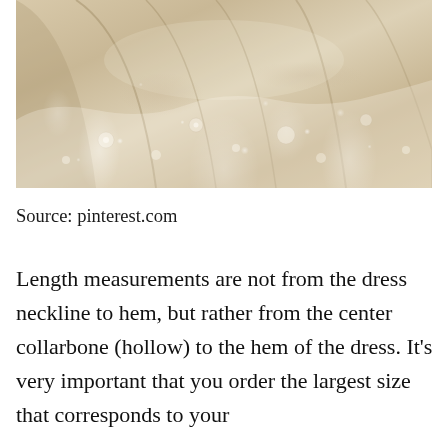[Figure (photo): Close-up photograph of a wedding dress with intricate lace details and flowing fabric in champagne/ivory tones]
Source: pinterest.com
Length measurements are not from the dress neckline to hem, but rather from the center collarbone (hollow) to the hem of the dress. It’s very important that you order the largest size that corresponds to your